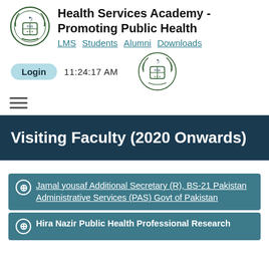[Figure (logo): Pakistan government emblem/logo at top left]
Health Services Academy - Promoting Public Health
LMS  Students  Alumni  Downloads
Login  11:24:17 AM
[Figure (logo): Pakistan government emblem/logo center-right]
Visiting Faculty (2020 Onwards)
Jamal yousaf Additional Secretary (R), BS-21 Pakistan Administrative Services (PAS) Govt of Pakistan
Hira Nazir Public Health Professional Research